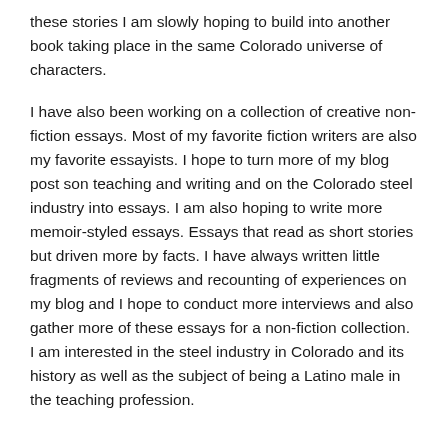these stories I am slowly hoping to build into another book taking place in the same Colorado universe of characters.
I have also been working on a collection of creative non-fiction essays. Most of my favorite fiction writers are also my favorite essayists. I hope to turn more of my blog post son teaching and writing and on the Colorado steel industry into essays. I am also hoping to write more memoir-styled essays. Essays that read as short stories but driven more by facts. I have always written little fragments of reviews and recounting of experiences on my blog and I hope to conduct more interviews and also gather more of these essays for a non-fiction collection. I am interested in the steel industry in Colorado and its history as well as the subject of being a Latino male in the teaching profession.